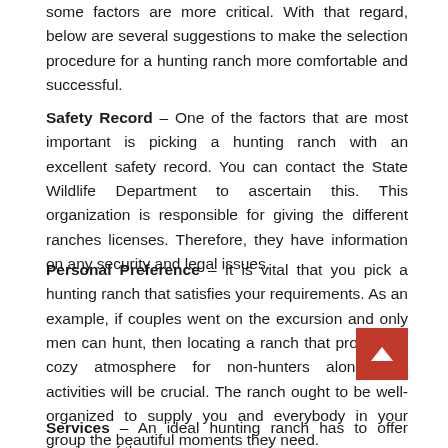some factors are more critical. With that regard, below are several suggestions to make the selection procedure for a hunting ranch more comfortable and successful.
Safety Record – One of the factors that are most important is picking a hunting ranch with an excellent safety record. You can contact the State Wildlife Department to ascertain this. This organization is responsible for giving the different ranches licenses. Therefore, they have information on any security and legal issues.
Personal Preference – It is vital that you pick a hunting ranch that satisfies your requirements. As an example, if couples went on the excursion and only men can hunt, then locating a ranch that provides a cozy atmosphere for non-hunters along with activities will be crucial. The ranch ought to be well-organized to supply you and everybody in your group the beautiful moments they need.
Services – An ideal hunting ranch has to offer services of the